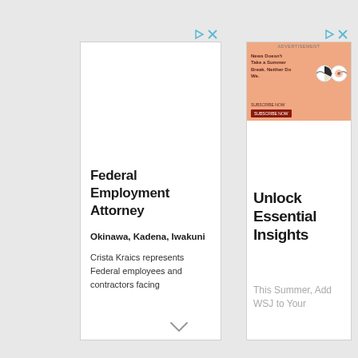[Figure (screenshot): Left advertisement panel for Federal Employment Attorney service. White vertical banner with ad controls (play and close buttons). Contains heading 'Federal Employment Attorney', subheading 'Okinawa, Kadena, Iwakuni', and body text 'Crista Kraics represents Federal employees and contractors facing']
[Figure (screenshot): Right advertisement panel for WSJ subscription. White vertical banner with a peach/salmon colored top banner showing text 'News Doesn't Take a Summer Break. Neither Do We.' with glasses illustration. Contains heading 'Unlock Essential Insights' and body text 'This Summer, Add WSJ to Your [Reading?]']